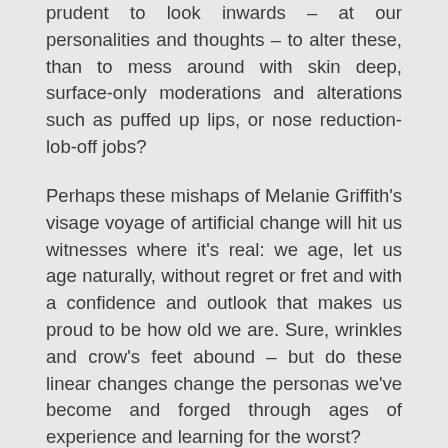prudent to look inwards – at our personalities and thoughts – to alter these, than to mess around with skin deep, surface-only moderations and alterations such as puffed up lips, or nose reduction-lob-off jobs?
Perhaps these mishaps of Melanie Griffith's visage voyage of artificial change will hit us witnesses where it's real: we age, let us age naturally, without regret or fret and with a confidence and outlook that makes us proud to be how old we are. Sure, wrinkles and crow's feet abound – but do these linear changes change the personas we've become and forged through ages of experience and learning for the worst?
Why risk wisdom gained for a face of liverwurst? Why do a Pete Burns plastic surgery horror show? Or a comedian Carrot top one? (Carrot Top says he just looks like he does because of makeup.) Why search for artificiality when reality will do genuinely fine? What's the deal with trying to pull the wool over everyone's eyes, thinking you've fooled them with a